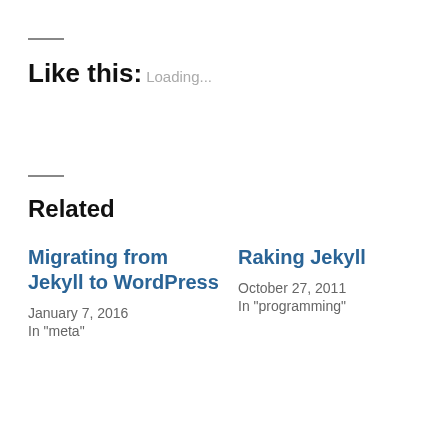Like this:
Loading...
Related
Migrating from Jekyll to WordPress
January 7, 2016
In "meta"
Raking Jekyll
October 27, 2011
In "programming"